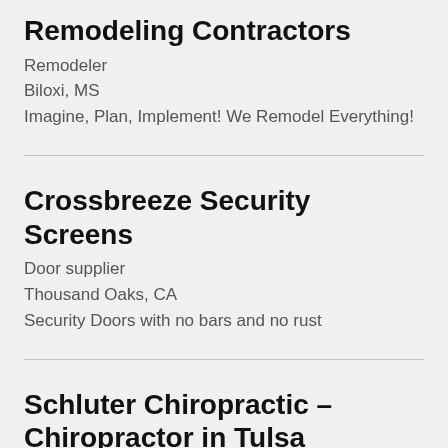Remodeling Contractors
Remodeler
Biloxi, MS
Imagine, Plan, Implement! We Remodel Everything!
Crossbreeze Security Screens
Door supplier
Thousand Oaks, CA
Security Doors with no bars and no rust
Schluter Chiropractic – Chiropractor in Tulsa
Chiropractor